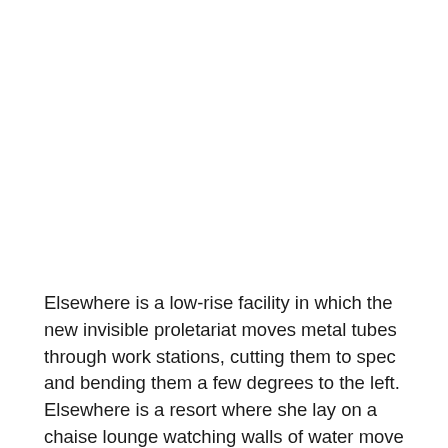Elsewhere is a low-rise facility in which the new invisible proletariat moves metal tubes through work stations, cutting them to spec and bending them a few degrees to the left. Elsewhere is a resort where she lay on a chaise lounge watching walls of water move like solids until the surface tensions fracture and the wave collapses into a clap, each followed by another message to decipher as you reach for your mojito and look the length of her legs, your lingering on an arrangement of moles accompanied